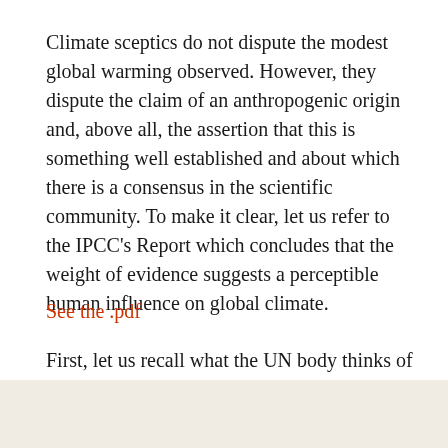Climate sceptics do not dispute the modest global warming observed. However, they dispute the claim of an anthropogenic origin and, above all, the assertion that this is something well established and about which there is a consensus in the scientific community. To make it clear, let us refer to the IPCC's Report which concludes that the weight of evidence suggests a perceptible human influence on global climate.
First, let us recall what the UN body thinks of the quality of its reports.
See the .pdf